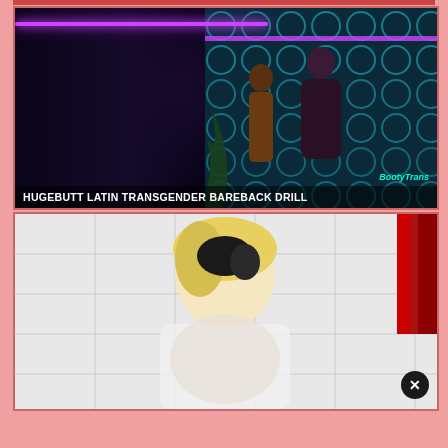[Figure (photo): Thumbnail image 1 - partial red bar at very top of page]
[Figure (photo): Adult content thumbnail showing club scene with neon lights, teal circle pattern on wall, figures, plants. Overlay text: HUGEBUTT LATIN TRANSGENDER BAREBACK DRILL with BootyTrans branding.]
HUGEBUTT LATIN TRANSGENDER BAREBACK DRILL
[Figure (photo): Adult content thumbnail showing bathroom scene with white tiles, red curtain on right, blonde figure, and a circular close/X button overlay at bottom right.]